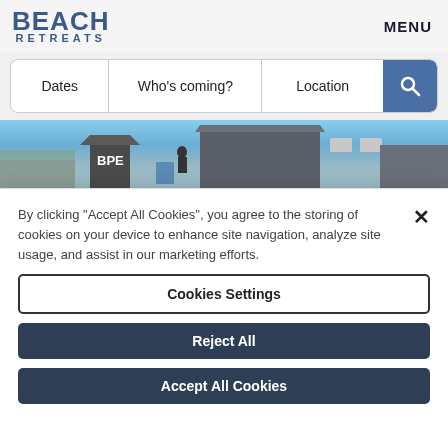[Figure (logo): Beach Retreats logo with bold blue text]
MENU
[Figure (screenshot): Search bar with Dates, Who's coming?, Location fields and blue search button]
[Figure (photo): Photo strip showing buildings with dark roofs against blue sky]
By clicking “Accept All Cookies”, you agree to the storing of cookies on your device to enhance site navigation, analyze site usage, and assist in our marketing efforts.
Cookies Settings
Reject All
Accept All Cookies